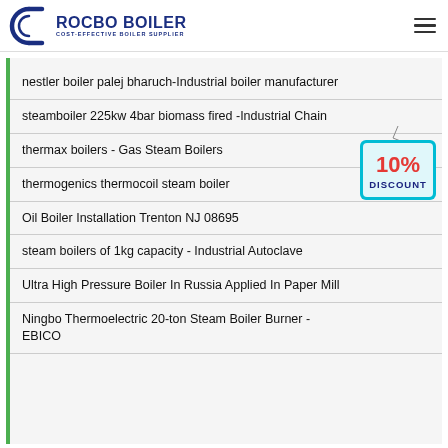ROCBO BOILER - COST-EFFECTIVE BOILER SUPPLIER
nestler boiler palej bharuch-Industrial boiler manufacturer
steamboiler 225kw 4bar biomass fired -Industrial Chain
thermax boilers - Gas Steam Boilers
thermogenics thermocoil steam boiler
Oil Boiler Installation Trenton NJ 08695
steam boilers of 1kg capacity - Industrial Autoclave
Ultra High Pressure Boiler In Russia Applied In Paper Mill
Ningbo Thermoelectric 20-ton Steam Boiler Burner - EBICO
[Figure (illustration): 10% DISCOUNT hanging tag/badge in red and cyan colors]